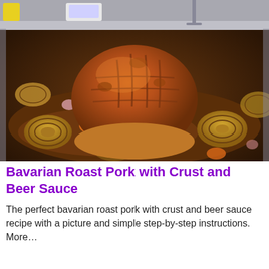[Figure (photo): A large Bavarian roast pork with scored crust sitting in a roasting pan filled with beer sauce, sliced onions, and carrots. Kitchen equipment visible in the background.]
Bavarian Roast Pork with Crust and Beer Sauce
The perfect bavarian roast pork with crust and beer sauce recipe with a picture and simple step-by-step instructions. More…